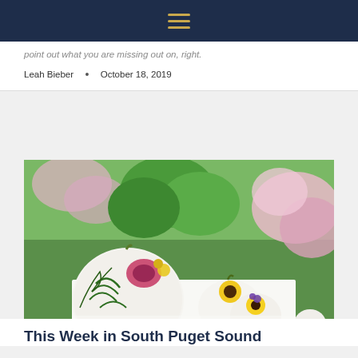Navigation menu icon
point out what you are missing out on, right.
Leah Bieber  •  October 18, 2019
[Figure (photo): White pumpkins decorated with painted flowers and leaves, including yellow sunflowers, purple flowers, and green fern-like leaves, arranged on a white surface with pink hydrangeas and green foliage in the background.]
This Week in South Puget Sound